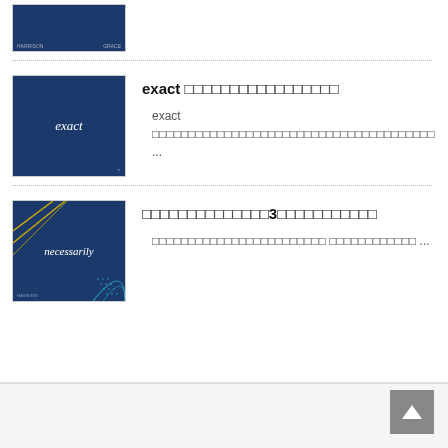[Figure (screenshot): Partial thumbnail of a dark blue book/document cover with text labels at bottom]
[Figure (screenshot): Dark blue cover thumbnail with the word 'exact' in italic white text centered]
exact □□□□□□□□□□□□□□□□□
exact □□□□□□□□□□□□□□□□□□□□□□□□□□□□□□□□□□□□□ ...
[Figure (screenshot): Dark blue cover thumbnail with diagonal geometric lines and the word 'necessarily' in italic white text]
□□□□□□□□□□□□□□3□□□□□□□□□□□
□□□□□□□□□□□□□□□□□□□□□□□□ □□□□□□□□□□□□ ...